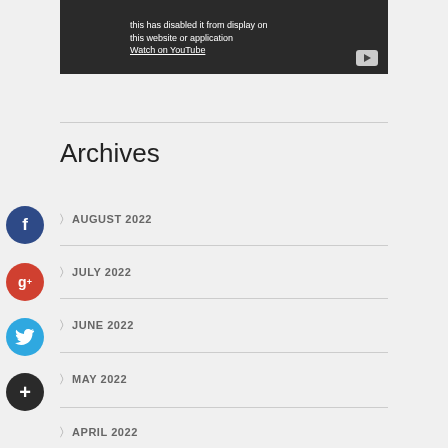[Figure (screenshot): YouTube video embed showing error message with Watch on YouTube link and play button]
Archives
AUGUST 2022
JULY 2022
JUNE 2022
MAY 2022
APRIL 2022